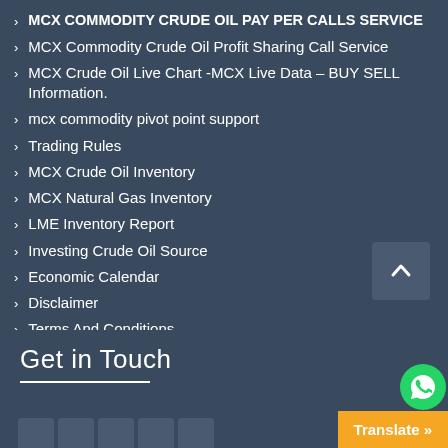MCX COMMODITY CRUDE OIL PAY PER CALLS SERVICE
MCX Commodity Crude Oil Profit Sharing Call Service
MCX Crude Oil Live Chart -MCX Live Data – BUY SELL Information.
mcx commodity pivot point support
Trading Rules
MCX Crude Oil Inventory
MCX Natural Gas Inventory
LME Inventory Report
Investing Crude Oil Source
Economic Calendar
Disclaimer
Terms And Conditions
Get in Touch